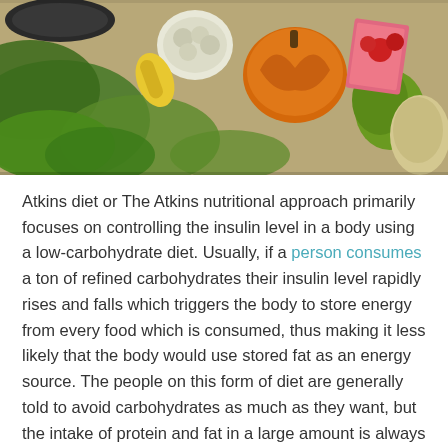[Figure (photo): Overhead photo of various vegetables and foods on a table, including leafy greens, cauliflower, pumpkin/squash, corn, and other produce arranged on a wooden surface.]
Atkins diet or The Atkins nutritional approach primarily focuses on controlling the insulin level in a body using a low-carbohydrate diet. Usually, if a person consumes a ton of refined carbohydrates their insulin level rapidly rises and falls which triggers the body to store energy from every food which is consumed, thus making it less likely that the body would use stored fat as an energy source. The people on this form of diet are generally told to avoid carbohydrates as much as they want, but the intake of protein and fat in a large amount is always welcomed.
Ketogenic Diet
Among all the diet regimes on this list, this is one of the most common forms of dieting plan which is used by people from all